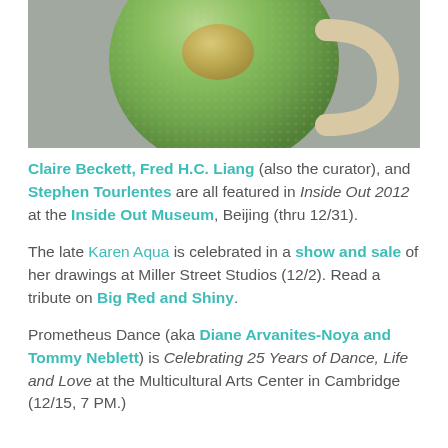[Figure (photo): Photograph of a green textured round ceramic cup/teapot with an oval decorative motif, held by a hand, on a grey background.]
Claire Beckett, Fred H.C. Liang (also the curator), and Stephen Tourlentes are all featured in Inside Out 2012 at the Inside Out Museum, Beijing (thru 12/31).
The late Karen Aqua is celebrated in a show and sale of her drawings at Miller Street Studios (12/2). Read a tribute on Big Red and Shiny.
Prometheus Dance (aka Diane Arvanites-Noya and Tommy Neblett) is Celebrating 25 Years of Dance, Life and Love at the Multicultural Arts Center in Cambridge (12/15, 7 PM.)